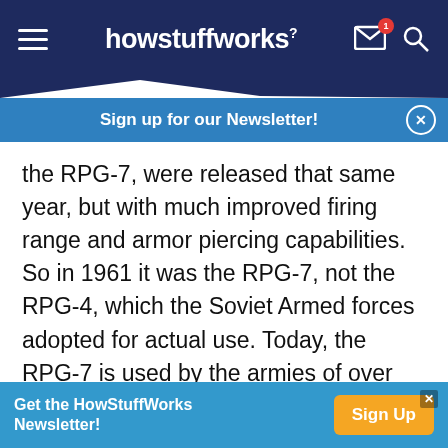howstuffworks
Sign up for our Newsletter!
the RPG-7, were released that same year, but with much improved firing range and armor piercing capabilities. So in 1961 it was the RPG-7, not the RPG-4, which the Soviet Armed forces adopted for actual use. Today, the RPG-7 is used by the armies of over forty different countries and is also used, reportedly, by a range of terrorist organizations in the Middle East and Latin Americas.

Now that we know what an RPG-7 is, let's take a look
Get the HowStuffWorks Newsletter!